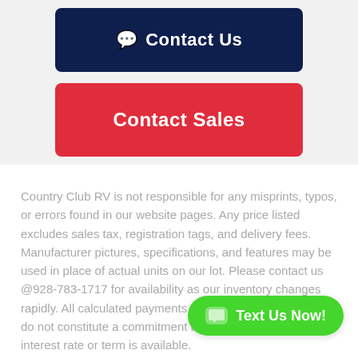[Figure (other): Contact Us button (dark navy blue, rounded rectangle) with chat bubble icon]
[Figure (other): Contact Sales button (red, rounded rectangle)]
Country Club RV is not responsible for any misprints, typos, or errors found in our website pages. Any price listed excludes sales tax, registration tags, and delivery fees. Manufacturer pictures, specifications, and features may be used in place of actual units on our lot. Please contact us @928-783-1717 for availability as our inventory changes rapidly. All calculated payments are an estimate only and do not constitute a commitment that financing or a specific interest rate or term is available.
[Figure (other): Text Us Now! button (green, rounded pill) with chat bubble icon]